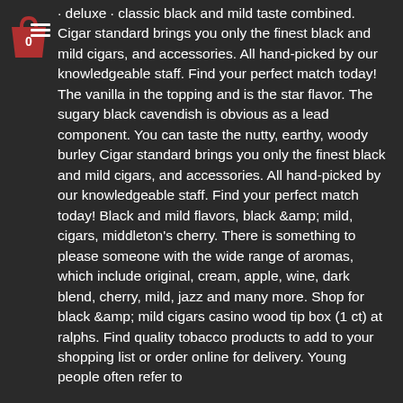[Figure (illustration): Red shopping bag icon with a '0' label on it, and a hamburger menu icon in the top-right of the sidebar area]
· deluxe · classic black and mild taste combined. Cigar standard brings you only the finest black and mild cigars, and accessories. All hand-picked by our knowledgeable staff. Find your perfect match today! The vanilla in the topping and is the star flavor. The sugary black cavendish is obvious as a lead component. You can taste the nutty, earthy, woody burley Cigar standard brings you only the finest black and mild cigars, and accessories. All hand-picked by our knowledgeable staff. Find your perfect match today! Black and mild flavors, black &amp; mild, cigars, middleton's cherry. There is something to please someone with the wide range of aromas, which include original, cream, apple, wine, dark blend, cherry, mild, jazz and many more. Shop for black &amp; mild cigars casino wood tip box (1 ct) at ralphs. Find quality tobacco products to add to your shopping list or order online for delivery. Young people often refer to